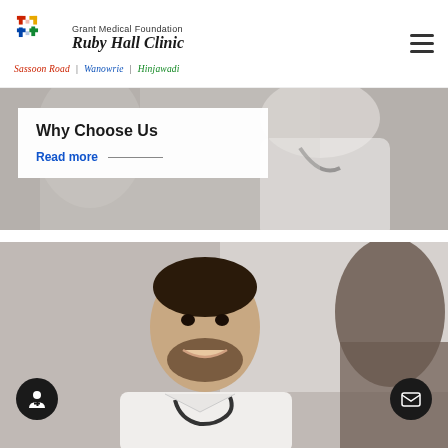[Figure (logo): Grant Medical Foundation Ruby Hall Clinic logo with colored cross and tagline 'Sassoon Road | Wanowrie | Hinjawadi']
[Figure (photo): Blurred photo of a doctor in white coat with stethoscope, with white card overlay showing 'Why Choose Us' heading and 'Read more' link]
Why Choose Us
Read more
[Figure (photo): Photo of a smiling male doctor in white coat with stethoscope consulting a patient, with two circular dark floating action buttons (doctor icon and mail icon)]